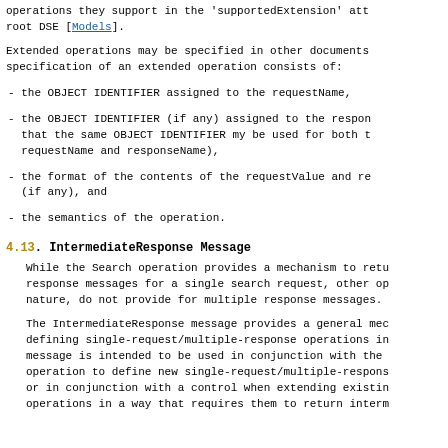operations they support in the 'supportedExtension' att root DSE [Models].
Extended operations may be specified in other documents specification of an extended operation consists of:
- the OBJECT IDENTIFIER assigned to the requestName,
- the OBJECT IDENTIFIER (if any) assigned to the respon that the same OBJECT IDENTIFIER my be used for both t requestName and responseName),
- the format of the contents of the requestValue and re (if any), and
- the semantics of the operation.
4.13. IntermediateResponse Message
While the Search operation provides a mechanism to retu response messages for a single search request, other op nature, do not provide for multiple response messages.
The IntermediateResponse message provides a general mec defining single-request/multiple-response operations in message is intended to be used in conjunction with the operation to define new single-request/multiple-respons or in conjunction with a control when extending existin operations in a way that requires them to return interm